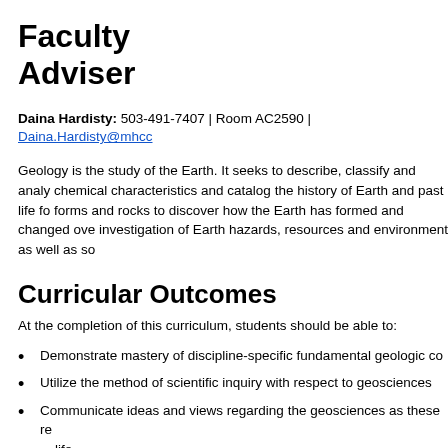Faculty Adviser
Daina Hardisty: 503-491-7407 | Room AC2590 | Daina.Hardisty@mhcc...
Geology is the study of the Earth. It seeks to describe, classify and analyze chemical characteristics and catalog the history of Earth and past life forms and rocks to discover how the Earth has formed and changed over investigation of Earth hazards, resources and environment as well as so...
Curricular Outcomes
At the completion of this curriculum, students should be able to:
Demonstrate mastery of discipline-specific fundamental geologic co...
Utilize the method of scientific inquiry with respect to geosciences
Communicate ideas and views regarding the geosciences as these re... life
Acquire the ability to analyze, synthesize and evaluate geologic data
Apply geologic knowledge and skills to a range of problems and prop... acceptable solutions